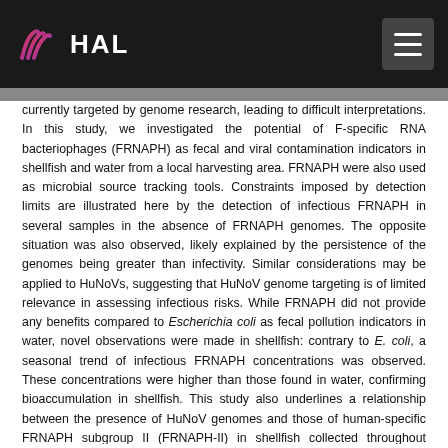HAL
currently targeted by genome research, leading to difficult interpretations. In this study, we investigated the potential of F-specific RNA bacteriophages (FRNAPH) as fecal and viral contamination indicators in shellfish and water from a local harvesting area. FRNAPH were also used as microbial source tracking tools. Constraints imposed by detection limits are illustrated here by the detection of infectious FRNAPH in several samples in the absence of FRNAPH genomes. The opposite situation was also observed, likely explained by the persistence of the genomes being greater than infectivity. Similar considerations may be applied to HuNoVs, suggesting that HuNoV genome targeting is of limited relevance in assessing infectious risks. While FRNAPH did not provide any benefits compared to Escherichia coli as fecal pollution indicators in water, novel observations were made in shellfish: contrary to E. coli, a seasonal trend of infectious FRNAPH concentrations was observed. These concentrations were higher than those found in water, confirming bioaccumulation in shellfish. This study also underlines a relationship between the presence of HuNoV genomes and those of human-specific FRNAPH subgroup II (FRNAPH-II) in shellfish collected throughout Europe. Further research should be undertaken to evaluate FRNAPH potential as an indicator of the presence of infectious HuNoVs. To this end, shellfish involved in HuNoV-caused gastroenteritis outbreaks should be analyzed for the presence of infectious FRNAPH-II.IMPORTANCE This work provides new data about the use of F-specific RNA phages (FRNAPH) as a tool for evaluating fecal or viral contamination, especially in shellfish. In our